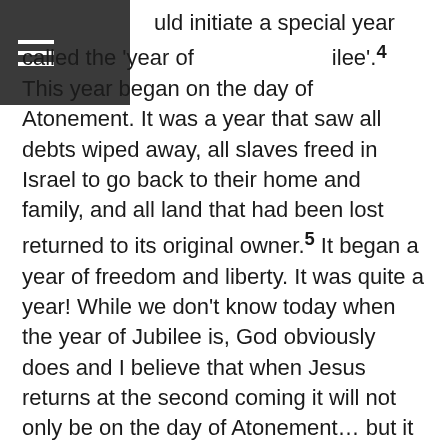≡
uld initiate a special year called the 'year of ilee'.4 This year began on the day of Atonement. It was a year that saw all debts wiped away, all slaves freed in Israel to go back to their home and family, and all land that had been lost returned to its original owner.5 It began a year of freedom and liberty. It was quite a year! While we don't know today when the year of Jubilee is, God obviously does and I believe that when Jesus returns at the second coming it will not only be on the day of Atonement... but it will be on the day of Atonement that begins the year of Jubilee. At that time all those entering the Messianic Kingdom will experience liberty and freedom from slavery (spiritually speaking). They will see that their debt of sin has been entirely wiped clean. And it will also be the year that the